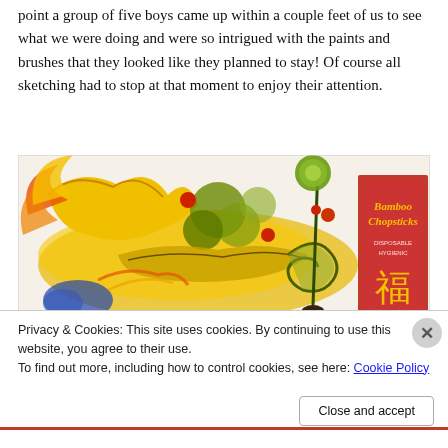point a group of five boys came up within a couple feet of us to see what we were doing and were so intrigued with the paints and brushes that they looked like they planned to stay! Of course all sketching had to stop at that moment to enjoy their attention.
[Figure (illustration): A colorful illustration of a Chinese dragon with yellow, red, green and blue colors, with a box of Bamboo Chopsticks visible on the right side showing Chinese character 福 (fu/good fortune)]
Privacy & Cookies: This site uses cookies. By continuing to use this website, you agree to their use.
To find out more, including how to control cookies, see here: Cookie Policy